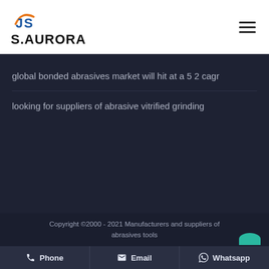[Figure (logo): S.AURORA company logo with stylized JS letters in blue and orange]
global bonded abrasives market will hit at a 5 2 cagr
looking for suppliers of abrasive vitrified grinding
Copyright ©2000 - 2021 Manufacturers and suppliers of abrasives tools
Phone   Email   Whatsapp